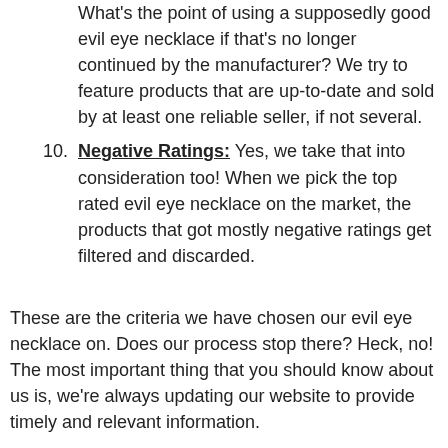What's the point of using a supposedly good evil eye necklace if that's no longer continued by the manufacturer? We try to feature products that are up-to-date and sold by at least one reliable seller, if not several.
Negative Ratings: Yes, we take that into consideration too! When we pick the top rated evil eye necklace on the market, the products that got mostly negative ratings get filtered and discarded.
These are the criteria we have chosen our evil eye necklace on. Does our process stop there? Heck, no! The most important thing that you should know about us is, we're always updating our website to provide timely and relevant information.